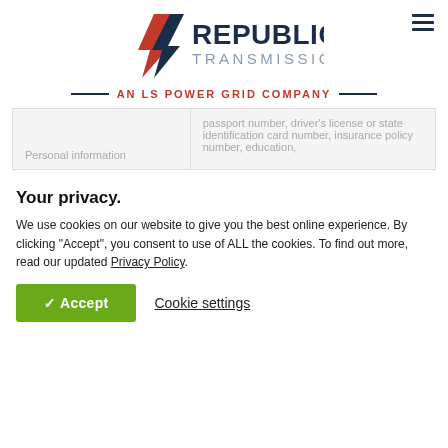[Figure (logo): Republic Transmission logo with red and navy lightning bolt arrow and text 'REPUBLIC TRANSMISSION' in navy]
AN LS POWER GRID COMPANY
| Personal information | passport number, driver's license or state identification card number, insurance policy number, education, |
Your privacy.
We use cookies on our website to give you the best online experience. By clicking "Accept", you consent to use of ALL the cookies. To find out more, read our updated Privacy Policy.
✓ Accept   Cookie settings